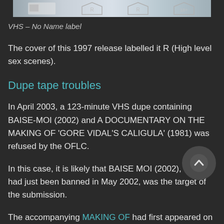[Figure (photo): Partial view of a VHS cover image strip showing rating shields and barcode]
VHS – No Name label
The cover of this 1997 release labelled it R (High level sex scenes).
Dupe tape troubles
In April 2003, a 123-minute VHS dupe containing BAISE-MOI (2002) and A DOCUMENTARY ON THE MAKING OF 'GORE VIDAL'S CALIGULA' (1981) was refused by the OFLC.
In this case, it is likely that BAISE MOI (2002), which had just been banned in May 2002, was the target of the submission.
The accompanying MAKING OF had first appeared on the 1999 American DVD from Image Entertainment. It